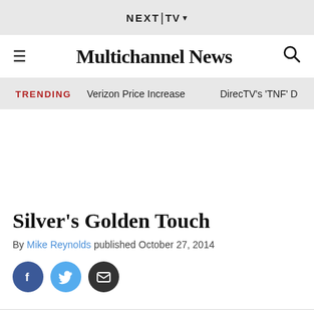NEXT|TV ▾
≡ Multichannel News 🔍
TRENDING   Verizon Price Increase   DirecTV's 'TNF' D
Silver's Golden Touch
By Mike Reynolds published October 27, 2014